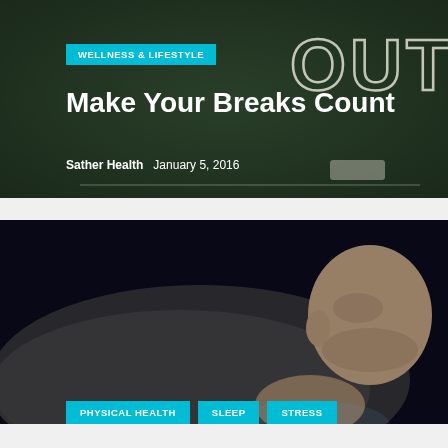[Figure (photo): Chalkboard background with 'OUT!' written in chalk, dark green/black tones]
WELLNESS & LIFESTYLE
Make Your Breaks Count
Sather Health   January 5, 2016
[Figure (photo): Bald man lying in bed looking at smartphone in a dark room, appearing stressed or sleepless]
PHYSICAL HEALTH   SLEEP   STRESS